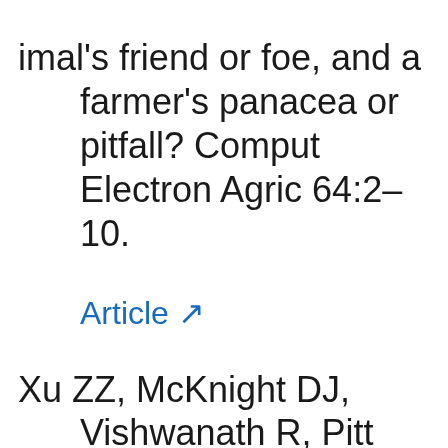imal's friend or foe, and a farmer's panacea or pitfall? Comput Electron Agric 64:2–10. Article [link]
Xu ZZ, McKnight DJ, Vishwanath R, Pitt CJ, Burton LJ. 1998. Estrus detection using radiotelemetry or visual observation and tail painting for dairy cows on pasture. J Dairy Sci 81:2...